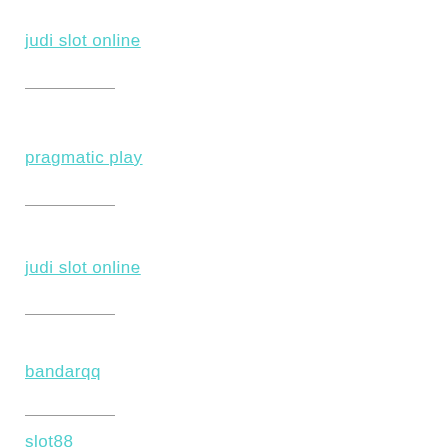judi slot online
pragmatic play
judi slot online
bandarqq
slot88